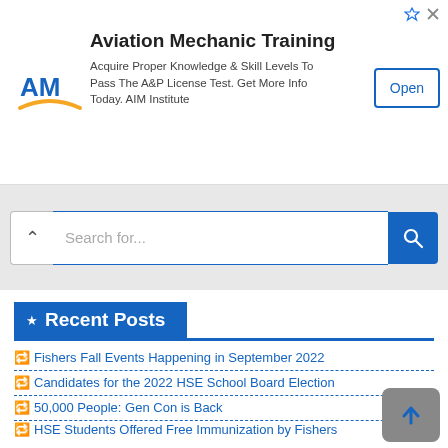[Figure (screenshot): Advertisement banner for Aviation Mechanic Training by AIM Institute with logo, text, and Open button]
[Figure (screenshot): Search bar with chevron toggle, placeholder text 'Search for...' and blue search button]
Recent Posts
Fishers Fall Events Happening in September 2022
Candidates for the 2022 HSE School Board Election
50,000 People: Gen Con is Back
HSE Students Offered Free Immunization by Fishers Health Department This Week
Spotlight on Local Shopping and Dining in Fishers
What's Happening at Spark!Fishers on June 21-25?